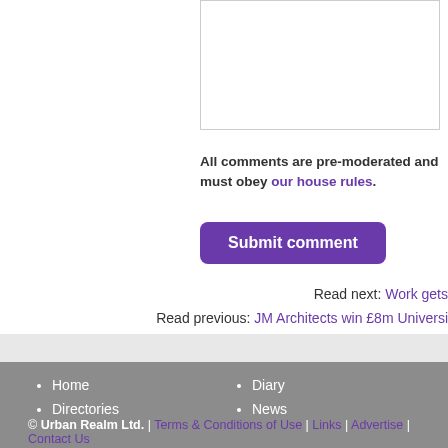All comments are pre-moderated and must obey our house rules.
Submit comment
Read next: Work gets
Read previous: JM Architects win £8m Universi
Home
Directories
New Buildings
Blogs
Diary
News
Features
© Urban Realm Ltd. | Terms & Conditions of Use | Links | Advertise | Contact Us